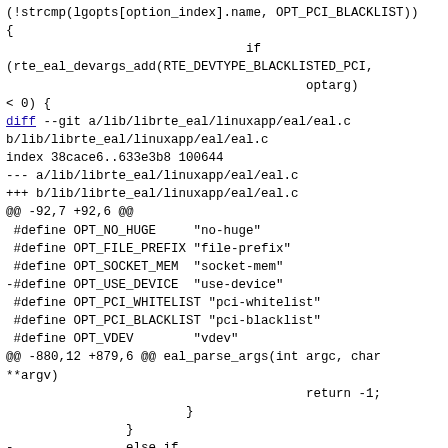(!strcmp(lgopts[option_index].name, OPT_PCI_BLACKLIST))
{
                                if
(rte_eal_devargs_add(RTE_DEVTYPE_BLACKLISTED_PCI,
                                        optarg)
< 0) {
diff --git a/lib/librte_eal/linuxapp/eal/eal.c b/lib/librte_eal/linuxapp/eal/eal.c
index 38cace6..633e3b8 100644
--- a/lib/librte_eal/linuxapp/eal/eal.c
+++ b/lib/librte_eal/linuxapp/eal/eal.c
@@ -92,7 +92,6 @@
 #define OPT_NO_HUGE     "no-huge"
 #define OPT_FILE_PREFIX "file-prefix"
 #define OPT_SOCKET_MEM  "socket-mem"
-#define OPT_USE_DEVICE  "use-device"
 #define OPT_PCI_WHITELIST "pci-whitelist"
 #define OPT_PCI_BLACKLIST "pci-blacklist"
 #define OPT_VDEV        "vdev"
@@ -880,12 +879,6 @@ eal_parse_args(int argc, char **argv)
                                        return -1;
                        }
                }
-               else if
(!strcmp(lgopts[option_index].name, OPT_USE_DEVICE)) {
-                       printf("The --use-device option is deprecated, please use\n"
-                               "--whitelist or --vdev instead.\n");